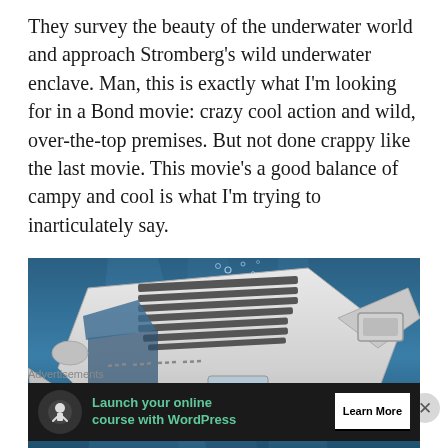They survey the beauty of the underwater world and approach Stromberg's wild underwater enclave. Man, this is exactly what I'm looking for in a Bond movie: crazy cool action and wild, over-the-top premises. But not done crappy like the last movie. This movie's a good balance of campy and cool is what I'm trying to inarticulately say.
[Figure (photo): Underwater photograph of a white Lotus Esprit submarine car (from James Bond 'The Spy Who Loved Me') submerged in blue water, viewed from slightly above and behind, with bubbles visible.]
Advertisements
[Figure (other): Advertisement banner with dark background, circular icon with tree/person silhouette, green text reading 'Launch your online course with WordPress', and a 'Learn More' button.]